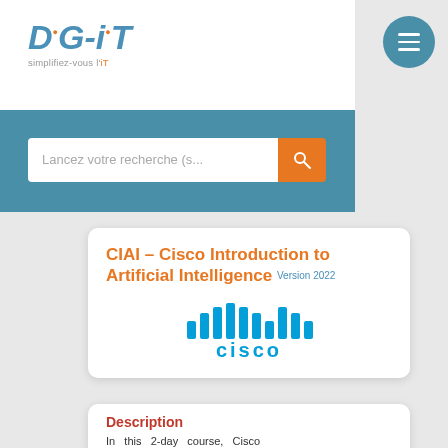[Figure (logo): DIG-iT logo with tagline 'simplifiez-vous l'iT' and a teal hamburger menu icon]
Lancez votre recherche (s...
CIAI - Cisco Introduction to Artificial Intelligence Version 2022
[Figure (logo): Cisco logo with blue bars and 'cisco' wordmark]
Description
In this 2-day course, Cisco